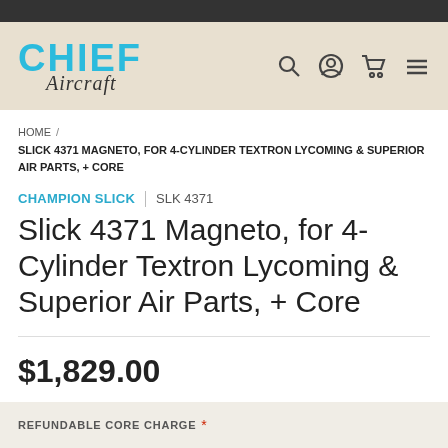[Figure (logo): Chief Aircraft logo in teal/cyan with cursive script]
HOME / SLICK 4371 MAGNETO, FOR 4-CYLINDER TEXTRON LYCOMING & SUPERIOR AIR PARTS, + CORE
CHAMPION SLICK | SLK 4371
Slick 4371 Magneto, for 4-Cylinder Textron Lycoming & Superior Air Parts, + Core
$1,829.00
REFUNDABLE CORE CHARGE *